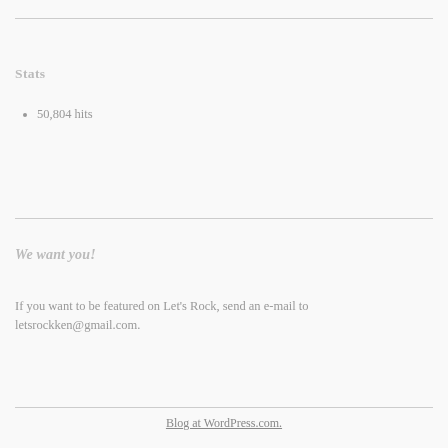Stats
50,804 hits
We want you!
If you want to be featured on Let's Rock, send an e-mail to letsrockken@gmail.com.
Blog at WordPress.com.